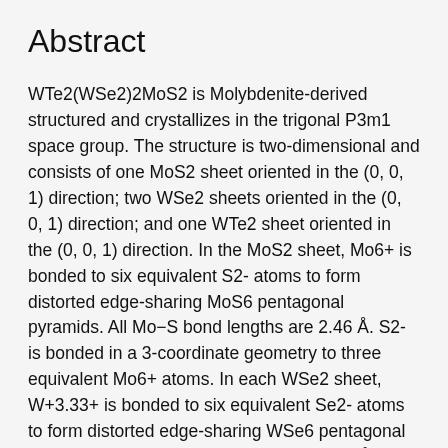Abstract
WTe2(WSe2)2MoS2 is Molybdenite-derived structured and crystallizes in the trigonal P3m1 space group. The structure is two-dimensional and consists of one MoS2 sheet oriented in the (0, 0, 1) direction; two WSe2 sheets oriented in the (0, 0, 1) direction; and one WTe2 sheet oriented in the (0, 0, 1) direction. In the MoS2 sheet, Mo6+ is bonded to six equivalent S2- atoms to form distorted edge-sharing MoS6 pentagonal pyramids. All Mo−S bond lengths are 2.46 Å. S2- is bonded in a 3-coordinate geometry to three equivalent Mo6+ atoms. In each WSe2 sheet, W+3.33+ is bonded to six equivalent Se2- atoms to form distorted edge-sharing WSe6 pentagonal pyramids. All W−Se bond lengths are 2.56 Å. Se2- is bonded in a 3-coordinate geometry to three equivalent W+3.33+ atoms. In the WTe2 sheet, W+3.33+ is bonded to six Te2- atoms to form distorted edge-sharing WTe6 pentagonal pyramids. There